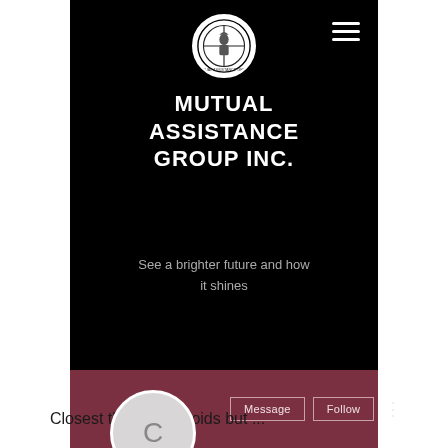[Figure (logo): Mutual Assistance Group Inc. circular logo with crosshair and warrior figure, white background]
MUTUAL ASSISTANCE GROUP INC.
See a brighter future and how it shines
[Figure (infographic): Profile section with mauve/dark-red background, grey circular avatar with letter C, Message and Follow buttons, and three-dot menu]
Closest thing to steroids but ...